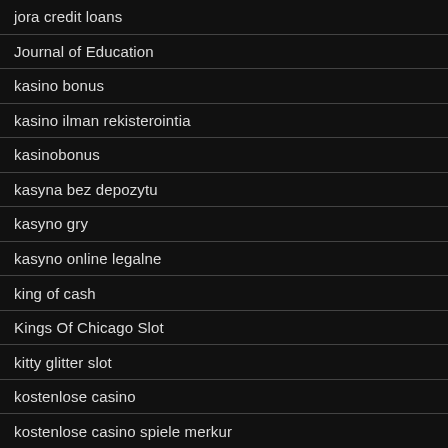jora credit loans
Journal of Education
kasino bonus
kasino ilman rekisterointia
kasinobonus
kasyna bez depozytu
kasyno gry
kasyno online legalne
king of cash
Kings Of Chicago Slot
kitty glitter slot
kostenlose casino
kostenlose casino spiele merkur